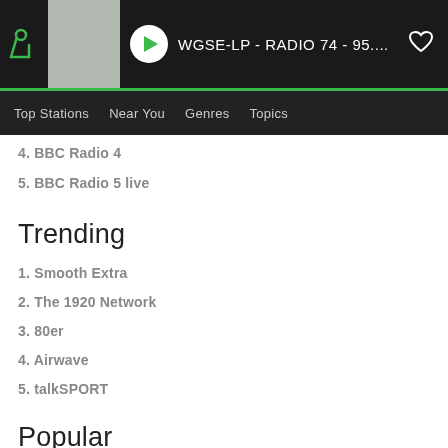WGSE-LP - RADIO 74 - 95....
4. BBC Radio 4
5. BBC Radio 5 live
Trending
1. Smooth Extra
2. The 1920 Network
3. 80er
4. Airwave
5. talkSPORT
Popular
1. BBC Radio Humberside